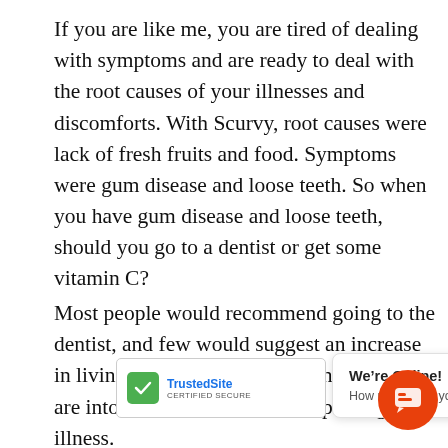If you are like me, you are tired of dealing with symptoms and are ready to deal with the root causes of your illnesses and discomforts. With Scurvy, root causes were lack of fresh fruits and food. Symptoms were gum disease and loose teeth. So when you have gum disease and loose teeth, should you go to a dentist or get some vitamin C?
Most people would recommend going to the dentist, and few would suggest an increase in living food. This shows you how far we are into the “Dark Side” of the paradigm of illness.
Ever hear of bacteria?
Your digestive system is full of tiny microorganisms that contain bacteria, viru[s]... [re,] was k[nown]... s[...] [e]w medi[cine]... [l]mit this to be the scientific fact that it
[Figure (other): TrustedSite Certified Secure badge overlay in lower left area of page]
[Figure (other): Chat popup overlay with text 'We're Online! How may I help you today?' and orange chat icon button]